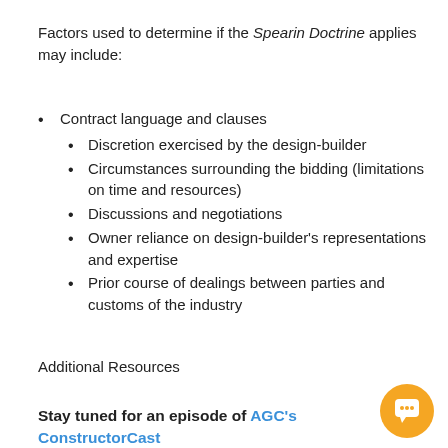Factors used to determine if the Spearin Doctrine applies may include:
Contract language and clauses
Discretion exercised by the design-builder
Circumstances surrounding the bidding (limitations on time and resources)
Discussions and negotiations
Owner reliance on design-builder's representations and expertise
Prior course of dealings between parties and customs of the industry
Additional Resources
Stay tuned for an episode of AGC's ConstructorCast